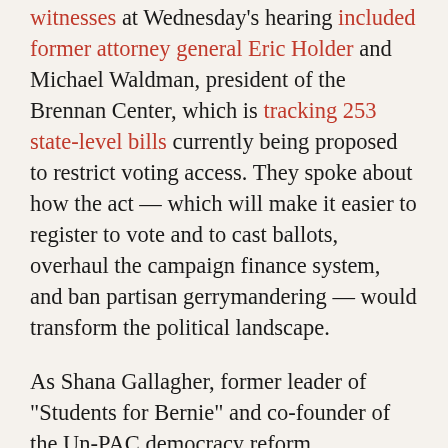witnesses at Wednesday's hearing included former attorney general Eric Holder and Michael Waldman, president of the Brennan Center, which is tracking 253 state-level bills currently being proposed to restrict voting access. They spoke about how the act — which will make it easier to register to vote and to cast ballots, overhaul the campaign finance system, and ban partisan gerrymandering — would transform the political landscape.

As Shana Gallagher, former leader of "Students for Bernie" and co-founder of the Un-PAC democracy reform organization, recently told Teen Vogue, the act represents "the closest thing to a silver bullet that I've ever seen when it comes to real democratic renewal."